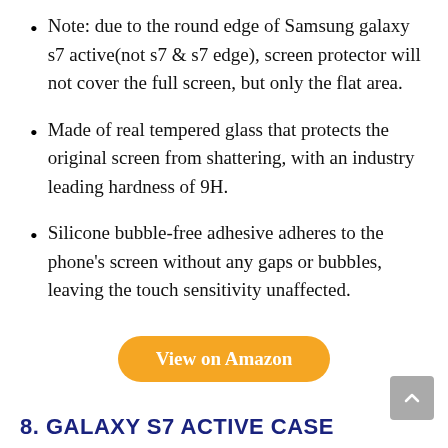Note: due to the round edge of Samsung galaxy s7 active(not s7 & s7 edge), screen protector will not cover the full screen, but only the flat area.
Made of real tempered glass that protects the original screen from shattering, with an industry leading hardness of 9H.
Silicone bubble-free adhesive adheres to the phone's screen without any gaps or bubbles, leaving the touch sensitivity unaffected.
View on Amazon
8. GALAXY S7 ACTIVE CASE